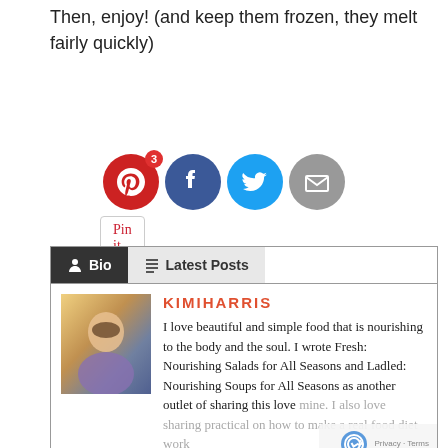Then, enjoy! (and keep them frozen, they melt fairly quickly)
[Figure (other): Pin It button]
[Figure (other): Social sharing icons: Pinterest (with badge 3), Facebook, Twitter, Email]
[Figure (other): Bio/Latest Posts tab section with author Kimi Harris photo and bio text]
KIMIHARRIS
I love beautiful and simple food that is nourishing to the body and the soul. I wrote Fresh: Nourishing Salads for All Seasons and Ladled: Nourishing Soups for All Seasons as another outlet of sharing this love mine. I also love sharing practical on how to make a real food diet work